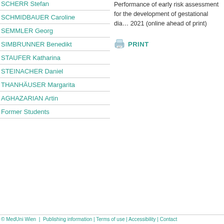SCHERR Stefan
SCHMIDBAUER Caroline
SEMMLER Georg
SIMBRUNNER Benedikt
STAUFER Katharina
STEINACHER Daniel
THANHÄUSER Margarita
AGHAZARIAN Artin
Former Students
Performance of early risk assessment for the development of gestational dia… 2021 (online ahead of print)
PRINT
© MedUni Wien  |  Publishing information | Terms of use | Accessibility | Contact